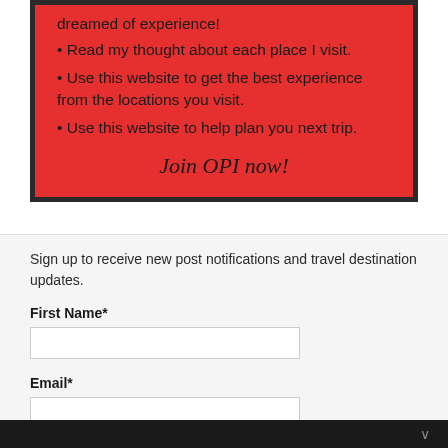[Figure (other): Red promotional box with black border containing bullet points about visiting places and joining OPI, with 'Join OPI now!' in italic script at the bottom]
Sign up to receive new post notifications and travel destination updates.
First Name*
Email*